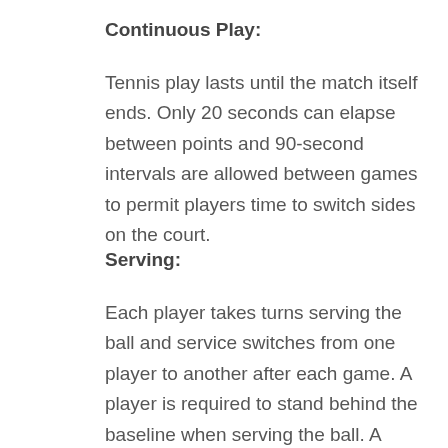Continuous Play:
Tennis play lasts until the match itself ends. Only 20 seconds can elapse between points and 90-second intervals are allowed between games to permit players time to switch sides on the court.
Serving:
Each player takes turns serving the ball and service switches from one player to another after each game. A player is required to stand behind the baseline when serving the ball. A serve begins